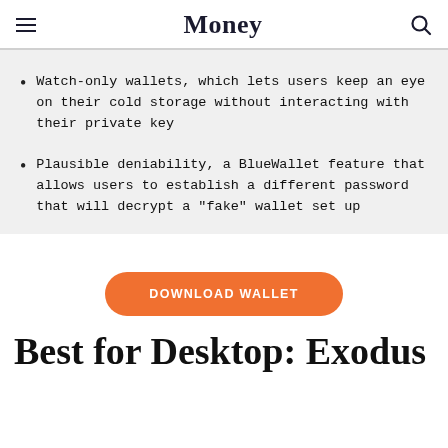Money
Watch-only wallets, which lets users keep an eye on their cold storage without interacting with their private key
Plausible deniability, a BlueWallet feature that allows users to establish a different password that will decrypt a "fake" wallet set up
DOWNLOAD WALLET
Best for Desktop: Exodus